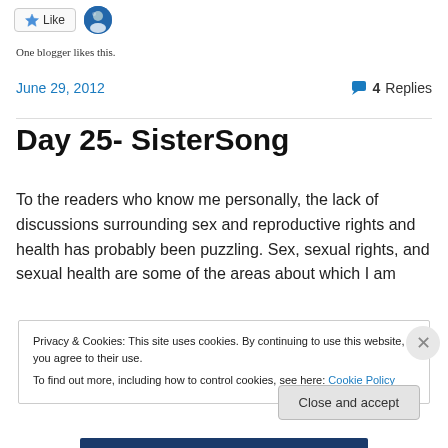[Figure (other): Like button widget with star icon and avatar thumbnail]
One blogger likes this.
June 29, 2012  💬 4 Replies
Day 25- SisterSong
To the readers who know me personally, the lack of discussions surrounding sex and reproductive rights and health has probably been puzzling. Sex, sexual rights, and sexual health are some of the areas about which I am
Privacy & Cookies: This site uses cookies. By continuing to use this website, you agree to their use.
To find out more, including how to control cookies, see here: Cookie Policy
Close and accept